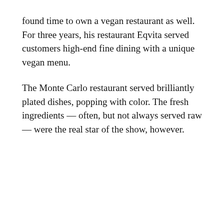found time to own a vegan restaurant as well. For three years, his restaurant Eqvita served customers high-end fine dining with a unique vegan menu.
The Monte Carlo restaurant served brilliantly plated dishes, popping with color. The fresh ingredients — often, but not always served raw — were the real star of the show, however.